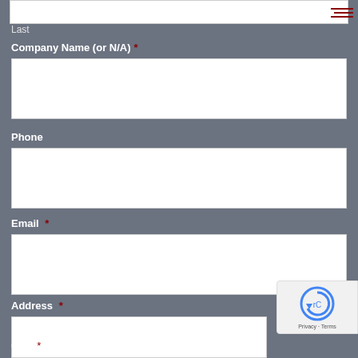Last
Company Name (or N/A) *
Phone
Email *
Address *
City *